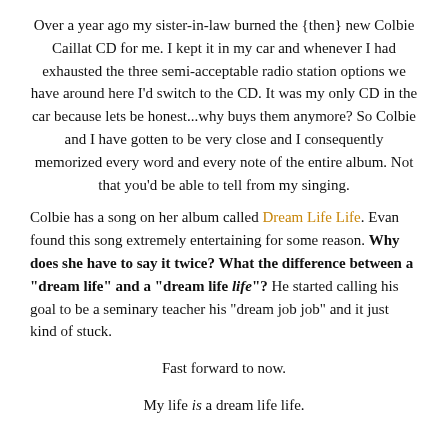Over a year ago my sister-in-law burned the {then} new Colbie Caillat CD for me. I kept it in my car and whenever I had exhausted the three semi-acceptable radio station options we have around here I'd switch to the CD. It was my only CD in the car because lets be honest...why buys them anymore? So Colbie and I have gotten to be very close and I consequently memorized every word and every note of the entire album. Not that you'd be able to tell from my singing.
Colbie has a song on her album called Dream Life Life. Evan found this song extremely entertaining for some reason. Why does she have to say it twice? What the difference between a "dream life" and a "dream life life"? He started calling his goal to be a seminary teacher his "dream job job" and it just kind of stuck.
Fast forward to now.
My life is a dream life life.